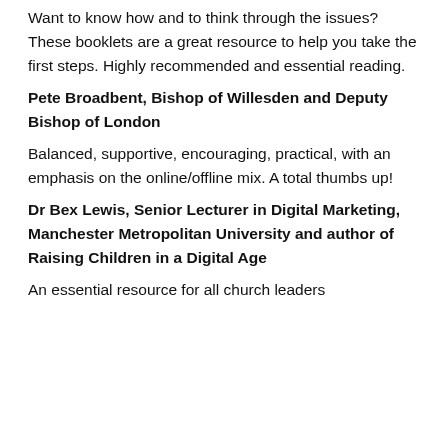Want to know how and to think through the issues? These booklets are a great resource to help you take the first steps. Highly recommended and essential reading.
Pete Broadbent, Bishop of Willesden and Deputy Bishop of London
Balanced, supportive, encouraging, practical, with an emphasis on the online/offline mix. A total thumbs up!
Dr Bex Lewis, Senior Lecturer in Digital Marketing, Manchester Metropolitan University and author of Raising Children in a Digital Age
An essential resource for all church leaders